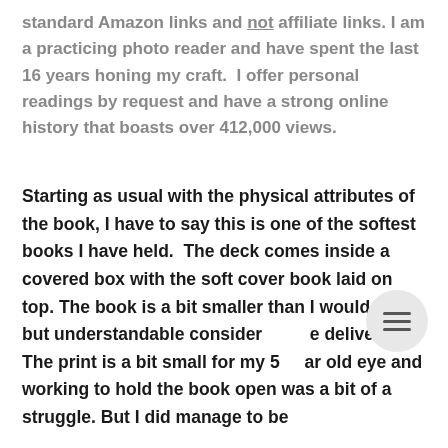standard Amazon links and not affiliate links. I am a practicing photo reader and have spent the last 16 years honing my craft.  I offer personal readings by request and have a strong online history that boasts over 412,000 views.
Starting as usual with the physical attributes of the book, I have to say this is one of the softest books I have held.  The deck comes inside a covered box with the soft cover book laid on top. The book is a bit smaller than I would like but understandable considering the delivery.  The print is a bit small for my 50+ year old eye and working to hold the book open was a bit of a struggle. But I did manage to be